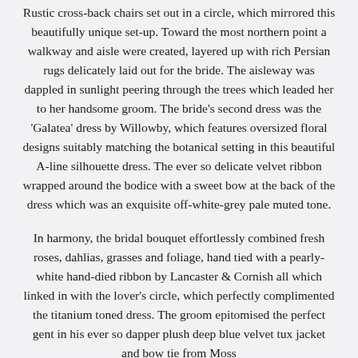Rustic cross-back chairs set out in a circle, which mirrored this beautifully unique set-up. Toward the most northern point a walkway and aisle were created, layered up with rich Persian rugs delicately laid out for the bride. The aisleway was dappled in sunlight peering through the trees which leaded her to her handsome groom. The bride's second dress was the 'Galatea' dress by Willowby, which features oversized floral designs suitably matching the botanical setting in this beautiful A-line silhouette dress. The ever so delicate velvet ribbon wrapped around the bodice with a sweet bow at the back of the dress which was an exquisite off-white-grey pale muted tone.
In harmony, the bridal bouquet effortlessly combined fresh roses, dahlias, grasses and foliage, hand tied with a pearly-white hand-died ribbon by Lancaster & Cornish all which linked in with the lover's circle, which perfectly complimented the titanium toned dress. The groom epitomised the perfect gent in his ever so dapper plush deep blue velvet tux jacket and bow tie from Moss